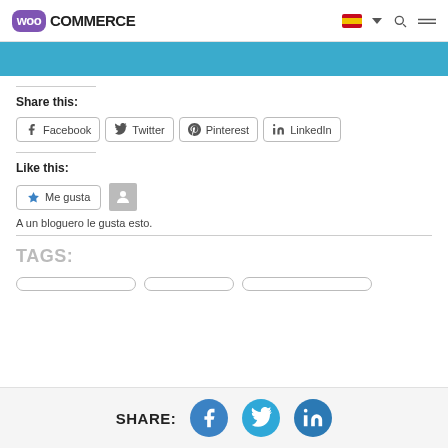WooCommerce
[Figure (screenshot): Blue banner/header strip]
Share this:
Facebook  Twitter  Pinterest  LinkedIn
Like this:
Me gusta
A un bloguero le gusta esto.
TAGS:
SHARE: Facebook Twitter LinkedIn